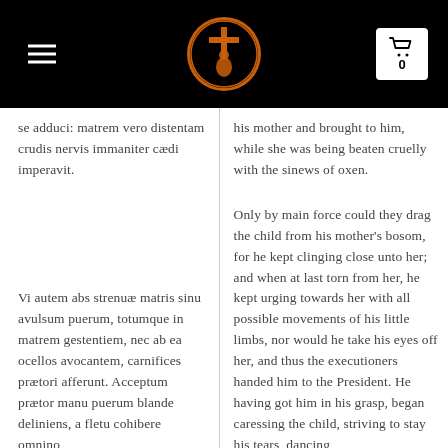[Header with logo, hamburger menu, and cart]
se adduci: matrem vero distentam crudis nervis immaniter cædi imperavit.
his mother and brought to him, while she was being beaten cruelly with the sinews of oxen.
Vi autem abs strenuæ matris sinu avulsum puerum, totumque in matrem gestentiem, nec ab ea ocellos avocantem, carnifices prætori afferunt. Acceptum prætor manu puerum blande deliniens, a fletu cohibere omnino
Only by main force could they drag the child from his mother's bosom, for he kept clinging close unto her; and when at last torn from her, he kept urging towards her with all possible movements of his little limbs, nor would he take his eyes off her, and thus the executioners handed him to the President. He having got him in his grasp, began caressing the child, striving to stay his tears, dancing